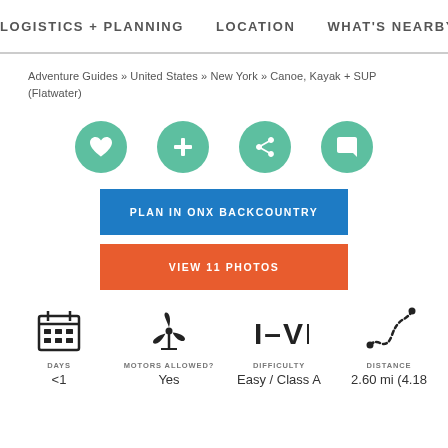LOGISTICS + PLANNING   LOCATION   WHAT'S NEARBY
Adventure Guides » United States » New York » Canoe, Kayak + SUP (Flatwater)
[Figure (infographic): Four teal circular icon buttons: heart (favorite), plus (add), share, comment]
PLAN IN ONX BACKCOUNTRY
VIEW 11 PHOTOS
[Figure (infographic): Four stat icons: calendar (DAYS <1), propeller (MOTORS ALLOWED? Yes), difficulty rating I-VI (DIFFICULTY Easy / Class A), route dotted line (DISTANCE 2.60 mi (4.18)]